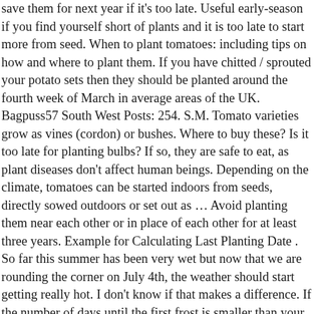save them for next year if it's too late. Useful early-season if you find yourself short of plants and it is too late to start more from seed. When to plant tomatoes: including tips on how and where to plant them. If you have chitted / sprouted your potato sets then they should be planted around the fourth week of March in average areas of the UK. Bagpuss57 South West Posts: 254. S.M. Tomato varieties grow as vines (cordon) or bushes. Where to buy these? Is it too late for planting bulbs? If so, they are safe to eat, as plant diseases don't affect human beings. Depending on the climate, tomatoes can be started indoors from seeds, directly sowed outdoors or set out as … Avoid planting them near each other or in place of each other for at least three years. Example for Calculating Last Planting Date . So far this summer has been very wet but now that we are rounding the corner on July 4th, the weather should start getting really hot. I don't know if that makes a difference. If the number of days until the first frost is smaller than your tomatoes' days of maturity, then it's too late in the season to plant. Sat May 13, 2017 7:35 pm. This is usually when the plant has set four or five trusses but with some varieties you can get seven or eight. Different tomatoes can take different growing